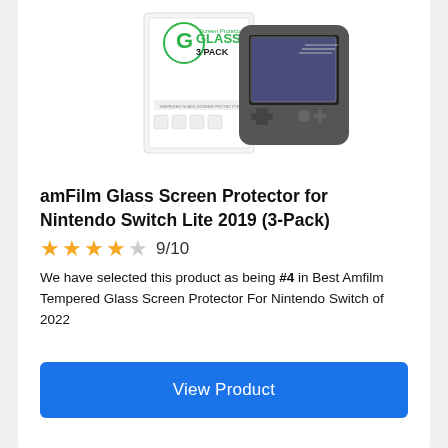[Figure (photo): Product photo of amFilm Glass Screen Protector 3-Pack for Nintendo Switch Lite, showing packaging box and the handheld gaming device]
amFilm Glass Screen Protector for Nintendo Switch Lite 2019 (3-Pack)
★★★★☆ 9/10
We have selected this product as being #4 in Best Amfilm Tempered Glass Screen Protector For Nintendo Switch of 2022
View Product